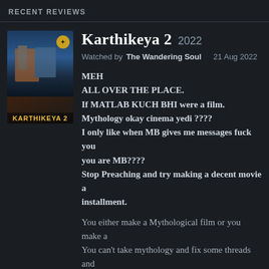RECENT REVIEWS
[Figure (photo): Movie poster for Karthikeya 2, dark blue and brown tones with figures visible, yellow logo text at bottom]
Karthikeya 2 2022
Watched by The Wandering Soul   21 Aug 2022
MEH
ALL OVER THE PLACE.
If MATLAB KUCH BHI were a film.
Mythology okay cinema yedi ????
I only like when MB gives me messages fuck you you are MB????
Stop Preaching and try making a decent movie a installment.
You either make a Mythological film or you make a You can't take mythology and fix some threads and It can never become good.

Karthikeya... more
15 likes